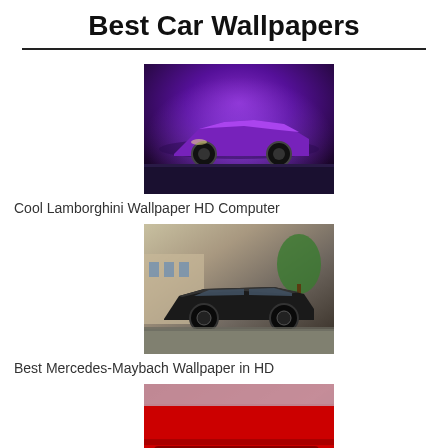Best Car Wallpapers
[Figure (photo): Purple Lamborghini supercar wallpaper with night sky background]
Cool Lamborghini Wallpaper HD Computer
[Figure (photo): Black Mercedes-Maybach luxury sedan parked near palm trees]
Best Mercedes-Maybach Wallpaper in HD
[Figure (photo): Red Dodge Challenger rear view with taillights]
Dodge Car Wallpaper